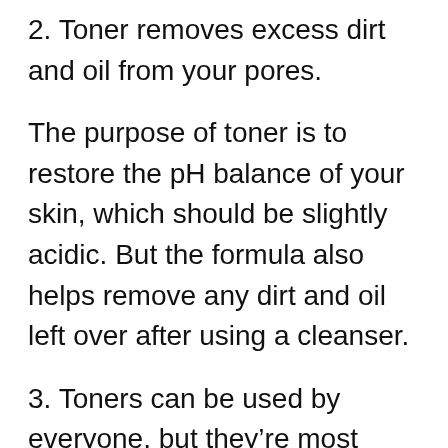2. Toner removes excess dirt and oil from your pores.
The purpose of toner is to restore the pH balance of your skin, which should be slightly acidic. But the formula also helps remove any dirt and oil left over after using a cleanser.
3. Toners can be used by everyone, but they’re most effective for people who have acne-prone skin or are over 30 years old.
For those with acne, toner can help prevent future breakouts by removing bacteria from the pores before it has a chance to develop into an inflamed pimple. And for anyone over the age of 30, toner helps minimize the appearance of large pores and